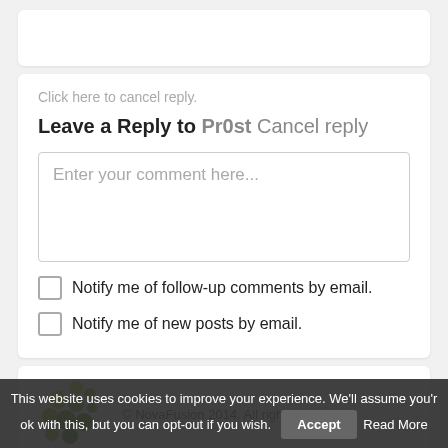Click here to cancel reply.
Leave a Reply to Pr0st Cancel reply
Enter your comment here...
Notify me of follow-up comments by email.
Notify me of new posts by email.
© NovaFusion 2014. All rights reserved.
This website uses cookies to improve your experience. We'll assume you're ok with this, but you can opt-out if you wish. Accept Read More